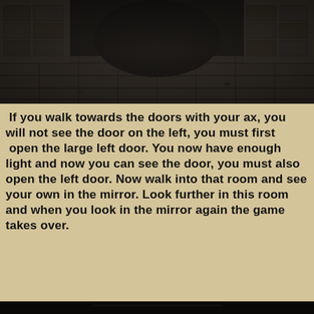[Figure (screenshot): Dark black and white screenshot from a video game showing a stone corridor or hall with a tiled floor, stone walls and archways, dimly lit, top portion of the page.]
If you walk towards the doors with your ax, you will not see the door on the left, you must first  open the large left door. You now have enough light and now you can see the door, you must also open the left door. Now walk into that room and see your own in the mirror. Look further in this room and when you look in the mirror again the game takes over.
[Figure (photo): Dark black and white photograph of a pale man with dark hair standing in front of a dark stone wall with dark foliage, wearing a white shirt with dark stains, looking directly at camera. Bottom portion of the page.]